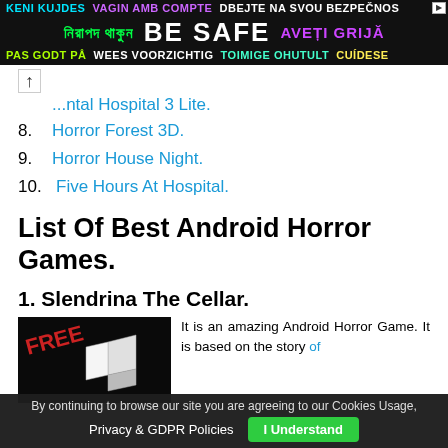[Figure (infographic): Safety advertisement banner with multilingual 'BE SAFE' text on dark background]
...ntal Hospital 3 Lite.
8. Horror Forest 3D.
9. Horror House Night.
10. Five Hours At Hospital.
List Of Best Android Horror Games.
1. Slendrina The Cellar.
[Figure (screenshot): Game screenshot showing dark background with 'FREE' text and white 3D cube shape]
It is an amazing Android Horror Game. It is based on the story of
By continuing to browse our site you are agreeing to our Cookies Usage, Privacy & GDPR Policies  I Understand